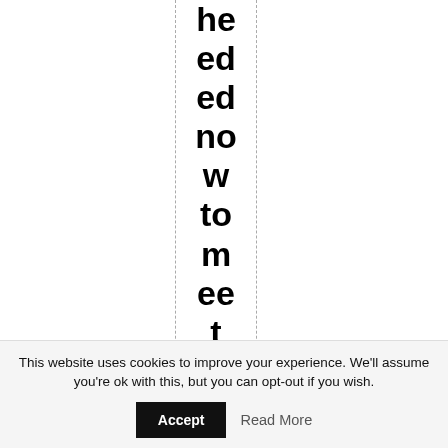he ed ed no w to m ee t 20 30 EU
This website uses cookies to improve your experience. We'll assume you're ok with this, but you can opt-out if you wish.
Accept
Read More